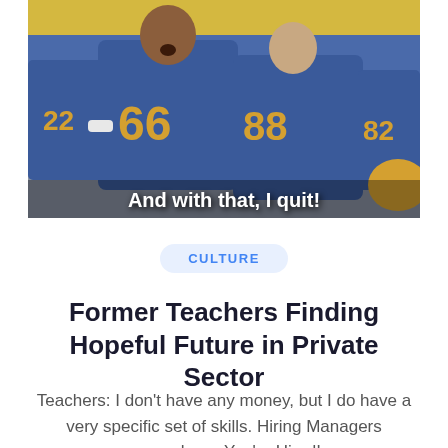[Figure (photo): Football players in blue and gold jerseys (number 66 prominent) sitting on a bench, appearing animated and celebratory. Subtitle text overlay reads 'And with that, I quit!']
CULTURE
Former Teachers Finding Hopeful Future in Private Sector
Teachers: I don't have any money, but I do have a very specific set of skills. Hiring Managers everywhere: You're Hired!